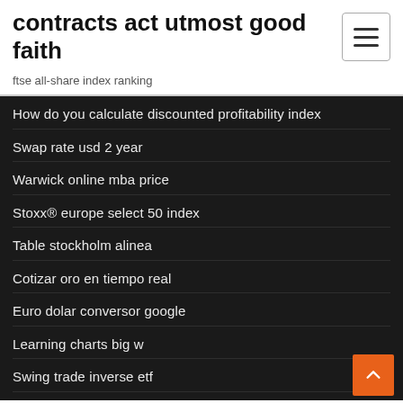contracts act utmost good faith
ftse all-share index ranking
How do you calculate discounted profitability index
Swap rate usd 2 year
Warwick online mba price
Stoxx® europe select 50 index
Table stockholm alinea
Cotizar oro en tiempo real
Euro dolar conversor google
Learning charts big w
Swing trade inverse etf
Online it return form filing